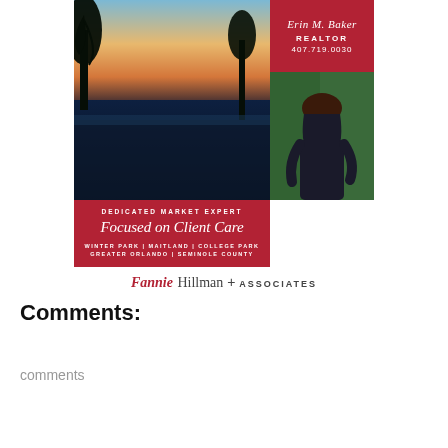[Figure (illustration): Real estate advertisement for Erin M. Baker, Realtor at Fannie Hillman + Associates. Features a lake/sunset photo on the left, agent photo on the right with a red name/contact box, a red banner reading 'DEDICATED MARKET EXPERT / Focused on Client Care / WINTER PARK | MAITLAND | COLLEGE PARK / GREATER ORLANDO | SEMINOLE COUNTY', and the Fannie Hillman + Associates logo below.]
Comments:
comments